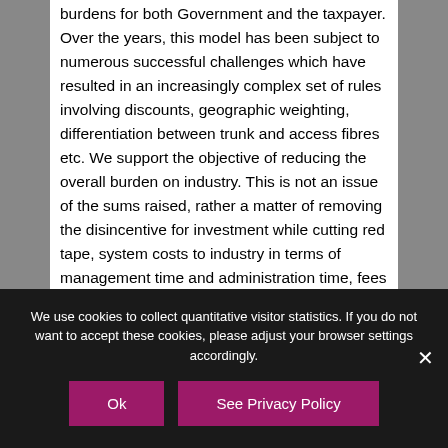burdens for both Government and the taxpayer. Over the years, this model has been subject to numerous successful challenges which have resulted in an increasingly complex set of rules involving discounts, geographic weighting, differentiation between trunk and access fibres etc. We support the objective of reducing the overall burden on industry. This is not an issue of the sums raised, rather a matter of removing the disincentive for investment while cutting red tape, system costs to industry in terms of management time and administration time, fees for professional advisers used to negotiate settlements, time and money spent on negotiations and disputes. The last paragraph...
We use cookies to collect quantitative visitor statistics. If you do not want to accept these cookies, please adjust your browser settings accordingly.
Ok
See Privacy Policy